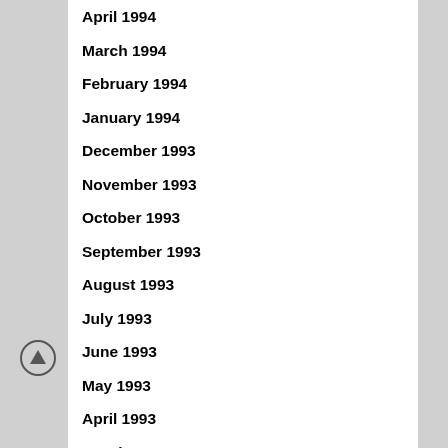April 1994
March 1994
February 1994
January 1994
December 1993
November 1993
October 1993
September 1993
August 1993
July 1993
June 1993
May 1993
April 1993
March 1993
February 1993
January 1993
December 1992
November 1992
October 1992
September 1992
August 1992